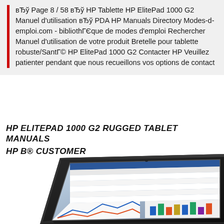вЂў Page 8 / 58 вЂў HP Tablette HP ElitePad 1000 G2 Manuel d'utilisation вЂў PDA HP Manuals Directory Modes-d-emploi.com - bibliothГЄque de modes d'emploi Rechercher Manuel d'utilisation de votre produit Bretelle pour tablette robuste/SantГ© HP ElitePad 1000 G2 Contacter HP Veuillez patienter pendant que nous recueillons vos options de contact
HP ELITEPAD 1000 G2 RUGGED TABLET MANUALS HP В® CUSTOMER
[Figure (photo): HP ElitePad 1000 G2 rugged tablet shown at an angle displaying a spreadsheet/dashboard application on the screen]